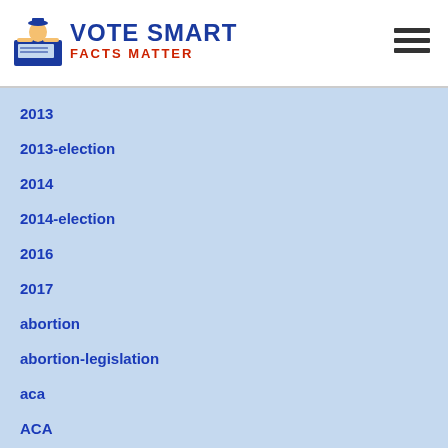Vote Smart — Facts Matter
2013
2013-election
2014
2014-election
2016
2017
abortion
abortion-legislation
aca
ACA